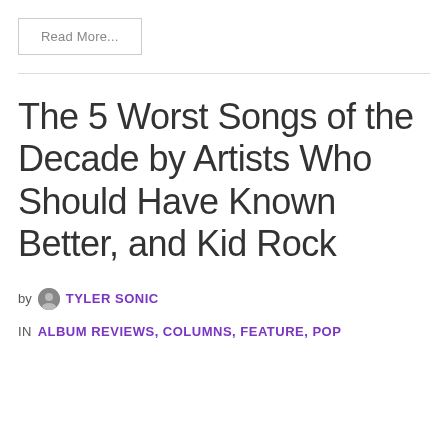Read More...
The 5 Worst Songs of the Decade by Artists Who Should Have Known Better, and Kid Rock
by TYLER SONIC
in ALBUM REVIEWS, COLUMNS, FEATURE, POP